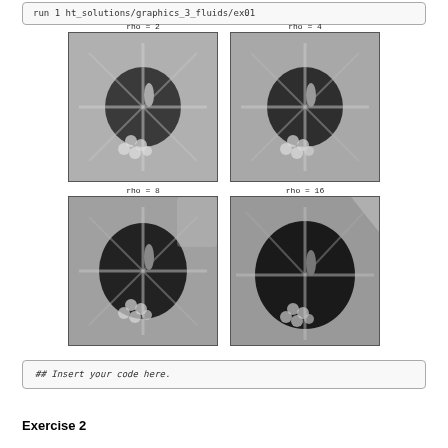run 1 ht_solutions/graphics_3_fluids/ex01
[Figure (photo): Four grayscale images of a hibiscus flower arranged in a 2x2 grid, with labels rho=2, rho=4, rho=8, rho=16. Each image shows the same flower but processed with different rho parameter values.]
## Insert your code here.
Exercise 2